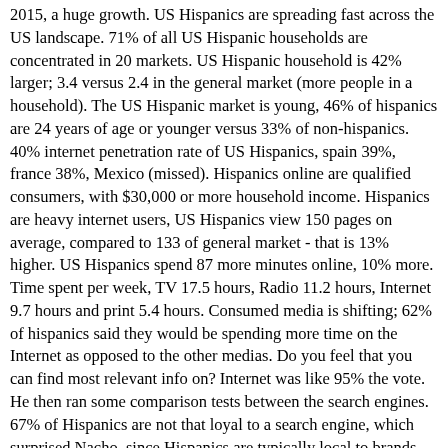2015, a huge growth. US Hispanics are spreading fast across the US landscape. 71% of all US Hispanic households are concentrated in 20 markets. US Hispanic household is 42% larger; 3.4 versus 2.4 in the general market (more people in a household). The US Hispanic market is young, 46% of hispanics are 24 years of age or younger versus 33% of non-hispanics. 40% internet penetration rate of US Hispanics, spain 39%, france 38%, Mexico (missed). Hispanics online are qualified consumers, with $30,000 or more household income. Hispanics are heavy internet users, US Hispanics view 150 pages on average, compared to 133 of general market - that is 13% higher. US Hispanics spend 87 more minutes online, 10% more. Time spent per week, TV 17.5 hours, Radio 11.2 hours, Internet 9.7 hours and print 5.4 hours. Consumed media is shifting; 62% of hispanics said they would be spending more time on the Internet as opposed to the other medias. Do you feel that you can find most relevant info on? Internet was like 95% the vote. He then ran some comparison tests between the search engines. 67% of Hispanics are not that loyal to a search engine, which surprised Nacho, since Hispanics are typically local to brands. 61% of US Hispanics are aware there is a difference between paid and organic results. They then asked the users if they can tell the difference between paid and organic. 56% of US Hispanics are not sure about the difference (lots of opportunity there). US Hispanic ad spend totaled more than 2.2 billion to market products to the US Hispanics in 2005, and a